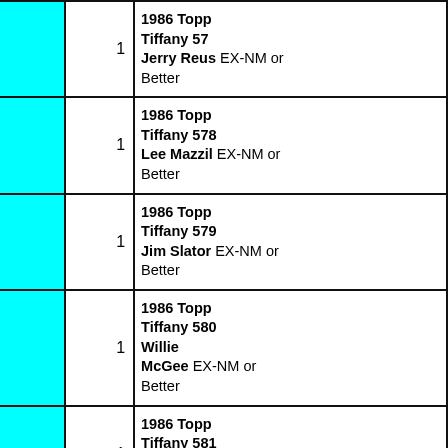| [image] | [image] | Qty | Description |
| --- | --- | --- | --- |
|  |  | 1 | 1986 Topp Tiffany 577 Jerry Reus EX-NM or Better |
|  |  | 1 | 1986 Topp Tiffany 578 Lee Mazzil EX-NM or Better |
|  |  | 1 | 1986 Topp Tiffany 579 Jim Slator EX-NM or Better |
|  |  | 1 | 1986 Topp Tiffany 580 Willie McGee EX-NM or Better |
|  |  | 1 | 1986 Topp Tiffany 581 Bruce Hur EX-NM or Better |